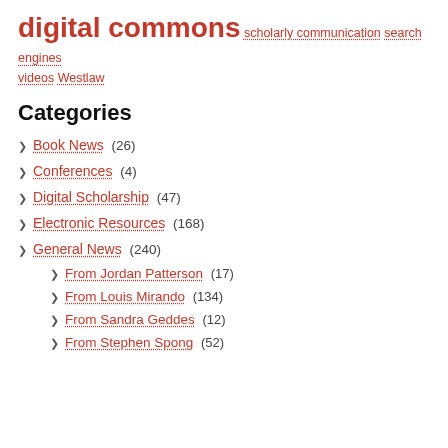digital commons scholarly communication search engines videos Westlaw
Categories
Book News (26)
Conferences (4)
Digital Scholarship (47)
Electronic Resources (168)
General News (240)
From Jordan Patterson (17)
From Louis Mirando (134)
From Sandra Geddes (12)
From Stephen Spong (52)